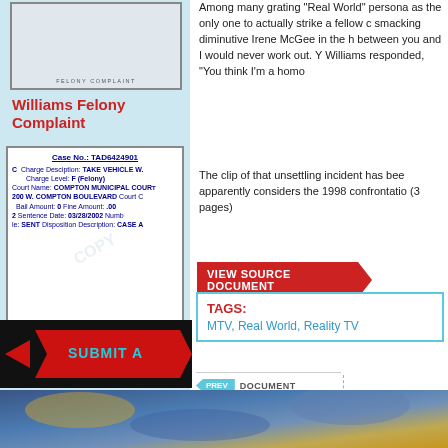[Figure (screenshot): Felony complaint document image showing case header with FELONY COMPLAINT text]
Williams Felony Complaint
[Figure (screenshot): Williams felony complaint court document showing Case No. TAD6424901, Charge Description: TAKE VEHICLE W., Charge Level: F (Felony), Court Name: COMPTON MUNICIPAL COURT 200 W. COMPTON BOULEVARD, Bail Amount: 0, Fine Amount: .00, Sentence Date: 03/28/2002, Disposition Description: CASE A, le: SENT]
Williams, 30 Days
Among many grating "Real World" persona as the only one to actually strike a fellow c smacking diminutive Irene McGee in the h between you and I would never work out. Y Williams responded, "You think I'm a homo
The clip of that unsettling incident has bee apparently considers the 1998 confrontatio (3 pages)
VIEW SOURCE DOCUMENT
TAGS: MTV, Real World, Reality TV
PREV DOCUMENT
A Justice Department Phony Fax
Taboola Feed
[Figure (photo): Bottom image strip showing colorful Van Gogh-like swirling art]